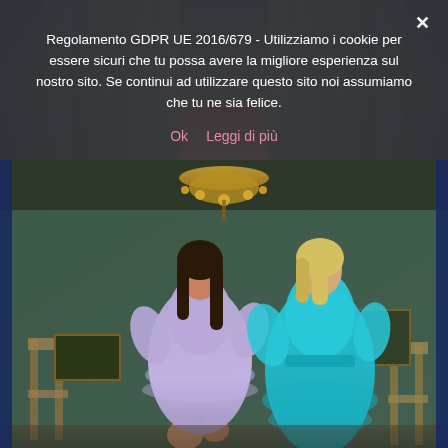[Figure (photo): Top strip showing curtain/fabric background with pinkish fabric visible in center]
Regolamento GDPR UE 2016/679 - Utilizziamo i cookie per essere sicuri che tu possa avere la migliore esperienza sul nostro sito. Se continui ad utilizzare questo sito noi assumiamo che tu ne sia felice.
Ok   Leggi di più
[Figure (photo): Fashion photo of two female models in an ornate interior room with chandelier and decorative wallpaper. Left model wears a lavender/purple ruffled mini dress, right model wears a turquoise/teal long ruffled dress. Antique chairs visible in background.]